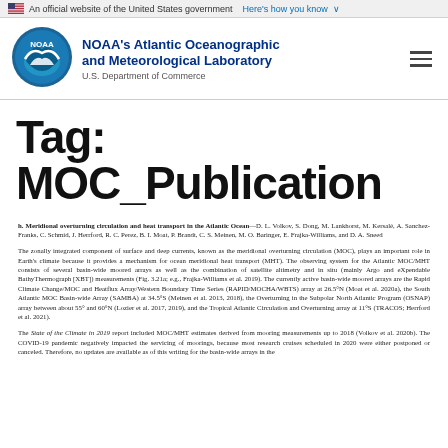An official website of the United States government Here's how you know ∨
[Figure (logo): NOAA logo — circular blue emblem with white bird silhouette and 'NOAA' text]
NOAA's Atlantic Oceanographic and Meteorological Laboratory
U.S. Department of Commerce
Tag: MOC_Publication
h. Meridional overturning circulation and heat transport in the Atlantic Ocean—D. L. Volkov, S. Dong, M. Lankhorst, M. Kersalé, A. Sanchez-Franks, C. Schmid, J. Herrford, R. C. Perez, B. I. Moat, P. Brandt, C. S. Meinen, M. O. Baringer, E. Frajka-Williams, and D. A. Sneed

The zonally integrated component of surface and deep currents, known as the meridional overturning circulation (MOC), plays an important role in Earth's climate because it provides a mechanism for ocean meridional heat transport (MHT). The observing system for the Atlantic MOC/MHT consists of several basin-wide moored arrays as well as the combination of satellite altimetry and in situ (mainly Argo and eXpendable BathyThermograph [XBT]) measurements (Fig. 3.21a; e.g., Frajka-Williams et al. 2019). The currently active basin-wide moored arrays are the Rapid Climate Change/MOC and Heatflux Array/Western Boundary Time Series (RAPID/MOCHA/WBTS) array at 26.5°N (Moat et al. 2020a), the South Atlantic MOC Basin-wide Array (SAMBA) at 34.5°S (Meinen et al. 2013, 2018), the Overturning in the Subpolar North Atlantic Program (OSNAP) array between about 55° and 60°N (Lozier et al. 2017, 2019), and the Tropical Atlantic Circulation and Overturning array at 11°S (TRACOS; Herrford et al. 2021).

The State of the Climate in 2019 report included MOC/MHT estimates derived from mooring measurements up to 2018 (Volkov et al. 2020b). The COVID-19 pandemic negatively impacted the servicing of moorings, because most research cruises scheduled in 2020 were either postponed or canceled. Therefore, no updates are available as of this writing for the basin-wide arrays in the